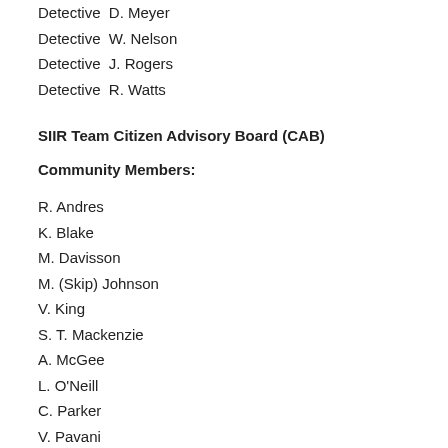Detective  D. Meyer
Detective  W. Nelson
Detective  J. Rogers
Detective  R. Watts
SIIR Team Citizen Advisory Board (CAB)
Community Members:
R. Andres
K. Blake
M. Davisson
M. (Skip) Johnson
V. King
S. T. Mackenzie
A. McGee
L. O'Neill
C. Parker
V. Pavani
J. (JT) Ramsey
M. Samadi